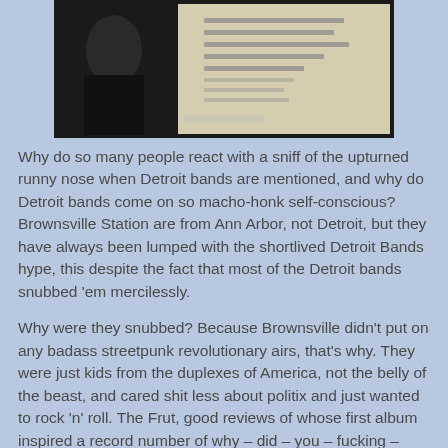[Figure (photo): A scanned album cover or record sleeve showing a musician with text on a light background, partially visible.]
Why do so many people react with a sniff of the upturned runny nose when Detroit bands are mentioned, and why do Detroit bands come on so macho-honk self-conscious? Brownsville Station are from Ann Arbor, not Detroit, but they have always been lumped with the shortlived Detroit Bands hype, this despite the fact that most of the Detroit bands snubbed 'em mercilessly.
Why were they snubbed? Because Brownsville didn't put on any badass streetpunk revolutionary airs, that's why. They were just kids from the duplexes of America, not the belly of the beast, and cared shit less about politix and just wanted to rock 'n' roll. The Frut, good reviews of whose first album inspired a record number of why – did – you – fucking – critics – con – me – into – buying – this – piece – of – shit? letters to rock magazines around the country but were liked 'cause they played their part in the Detroit scene, once said that "We're the guys who used to beat up Brownsville Station